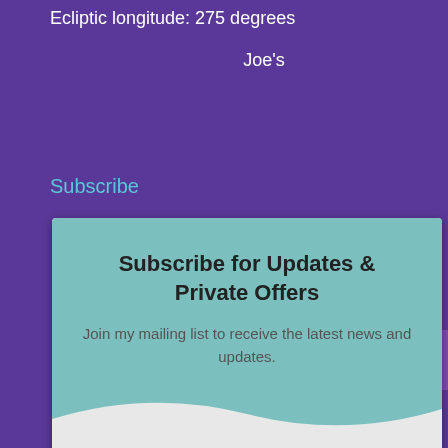Ecliptic longitude: 275 degrees
Joe's
Subscribe
[Figure (screenshot): Subscribe modal widget with teal header, title 'Subscribe for Updates & Private Offers', description text, email input field, purple SUBSCRIBE button, and 'Unsubscribe at any time.' footer text.]
Subscribe for Updates & Private Offers
Join my mailing list to receive the latest news and updates.
Email
SUBSCRIBE
Unsubscribe at any time.